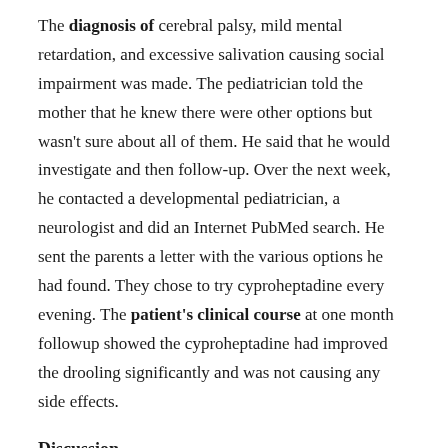The diagnosis of cerebral palsy, mild mental retardation, and excessive salivation causing social impairment was made. The pediatrician told the mother that he knew there were other options but wasn't sure about all of them. He said that he would investigate and then follow-up. Over the next week, he contacted a developmental pediatrician, a neurologist and did an Internet PubMed search. He sent the parents a letter with the various options he had found. They chose to try cyproheptadine every evening. The patient's clinical course at one month followup showed the cyproheptadine had improved the drooling significantly and was not causing any side effects.
Discussion